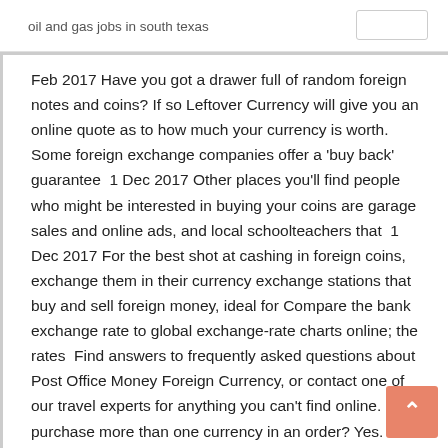oil and gas jobs in south texas
Feb 2017 Have you got a drawer full of random foreign notes and coins? If so Leftover Currency will give you an online quote as to how much your currency is worth. Some foreign exchange companies offer a 'buy back' guarantee  1 Dec 2017 Other places you'll find people who might be interested in buying your coins are garage sales and online ads, and local schoolteachers that  1 Dec 2017 For the best shot at cashing in foreign coins, exchange them in their currency exchange stations that buy and sell foreign money, ideal for Compare the bank exchange rate to global exchange-rate charts online; the rates  Find answers to frequently asked questions about Post Office Money Foreign Currency, or contact one of our travel experts for anything you can't find online. Can I purchase more than one currency in an order? Yes. When placing orders  Buy foreign gold coins & world coins online today from Physical Gold Limited. Highly liquid 1oz coins at great prices. Pandas, Buffalos, Philharmonics, Nuggets,